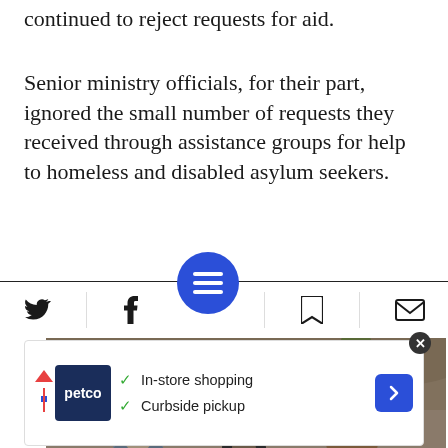continued to reject requests for aid.
Senior ministry officials, for their part, ignored the small number of requests they received through assistance groups for help to homeless and disabled asylum seekers.
[Figure (photo): Three people sitting with their backs to the camera on a low concrete wall, looking at a rocky hillside with dry brush and sparse vegetation.]
Social media toolbar with Twitter, Facebook, menu button, bookmark, and email icons. Advertisement banner for Petco showing In-store shopping and Curbside pickup options.